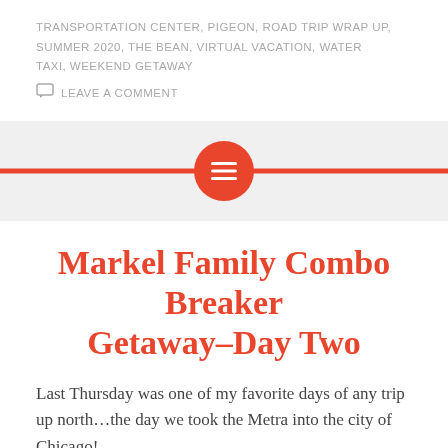TRANSPORTATION CENTER, PIGEON, ROAD TRIP WRAP UP, SUMMER 2020, THE BEAN, VIRTUAL VACATION, WATER TAXI, WEEKEND GETAWAY
LEAVE A COMMENT
[Figure (infographic): Red horizontal divider bar with a centered red circle containing a white menu/lines icon, on a light gray background]
Markel Family Combo Breaker Getaway–Day Two
Last Thursday was one of my favorite days of any trip up north…the day we took the Metra into the city of Chicago!